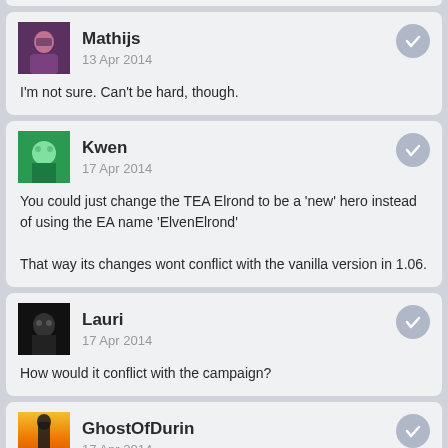Mathijs
13 Apr 2014
I'm not sure. Can't be hard, though.
Kwen
17 Apr 2014
You could just change the TEA Elrond to be a 'new' hero instead of using the EA name 'ElvenElrond'

That way its changes wont conflict with the vanilla version in 1.06.
Lauri
17 Apr 2014
How would it conflict with the campaign?
GhostOfDurin
17 Apr 2014
Phil, on 12 Apr 2014 - 5:36 PM, said: